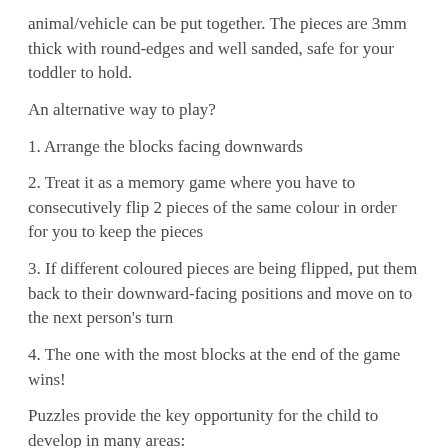animal/vehicle can be put together. The pieces are 3mm thick with round-edges and well sanded, safe for your toddler to hold.
An alternative way to play?
1. Arrange the blocks facing downwards
2. Treat it as a memory game where you have to consecutively flip 2 pieces of the same colour in order for you to keep the pieces
3. If different coloured pieces are being flipped, put them back to their downward-facing positions and move on to the next person's turn
4. The one with the most blocks at the end of the game wins!
Puzzles provide the key opportunity for the child to develop in many areas: